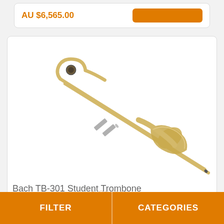AU $6,565.00
[Figure (photo): Bach TB-301 Student Trombone shown diagonally on white background with Ozwinds watermark]
Bach TB-301 Student Trombone
FILTER | CATEGORIES